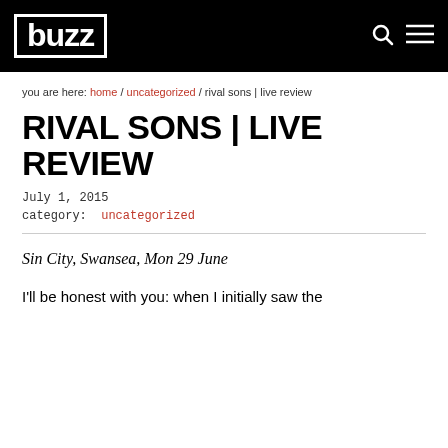buzz
you are here: home / uncategorized / rival sons | live review
RIVAL SONS | LIVE REVIEW
July 1, 2015
category: uncategorized
Sin City, Swansea, Mon 29 June
I'll be honest with you: when I initially saw the